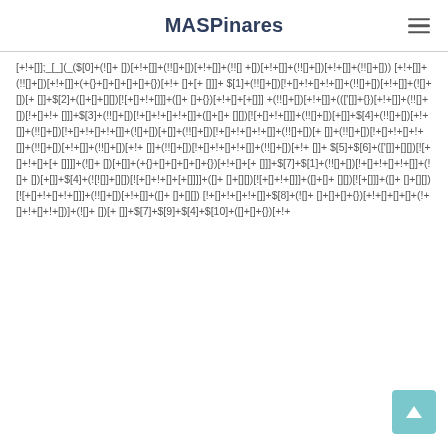MASPinares
[+!+[]];_[_](_($[0]+(![]+ [])[+!+[]]+(!![]+[])[+!+[]]+(!![]+[])[+!+[]]+(!![]+[]) [+!+[]]+(!![]+[])[+!+[]]+(+{}+[]+[]+[]+[]+{})[+!+[]+[+ []]]+ $[1]+(!![]+[])[!+[]+!+[]+!+[]]+(!![]+[])[+!+[]]+(![]+[])[+ []]+$[2]+([]+[]+[][])[![+[]+!+[]]]+([]+ []+{})[+!+[]+[+[]]] +(!![]+[])[+!+[]]+((['[]]+{})[+!+[]+[!+[]+!+[]]]+(!![]+[])[!+[]+!+ []]+$[3]+(!![]+[])[!+[]+!+[]+!+[]]+([]+[]+[] [[]])[+!+[]]+(!![] +[])[+[]]+$[4]+(!![]+[])[+!+ []]+(!![]+[])[!+[]+!+[]+!+[]]+(![] +[])[+[]]+(!![]+[])[!+[]+!+[]+!+[]]+(!![]+[])[+ []+(!![]+[])[!+[]+!+[]+!+[]]+(!![]+[])[+!+[]]+(!![]+[])[+!+ []]+(!![]+[])[!+[]+!+[]+!+[]]+(!![]+[])[+!+ []]+$[5]+$[6]+(['[]]+[][])[![+[]+!+[]+[+ []]]]+(![]+ [])[+[]]+( +{}+[]+[]+[]+[]+{})[+!+[]+[+ []]]+$[7]+$[1]+(!![]+[])[!+[]+!+[]+!+[]]+(![]+ [])[+[]]+$[4]+(!![]+[][])[![+[]+!+[]+[+[]]]]+([]+ []+[][])[![+[]+!+[]+!+[]]]+(!![]+[])[+!+[]]+(!![]+[] []])[![+[]]]+([]+ []+ [][])[![+[]+!+[]+!+[]]]+(!! []+[])[!+[]+!+[]+!+[]]+$[8]+(![]+ []+[]+[]+{})[+!+[]+[]+[]+(!+[]+!+[]+!+[]])+(![]+ [])[+ []]+$[7]+$[9]+$[4]+$[10]+([]+[]+{})[+!+